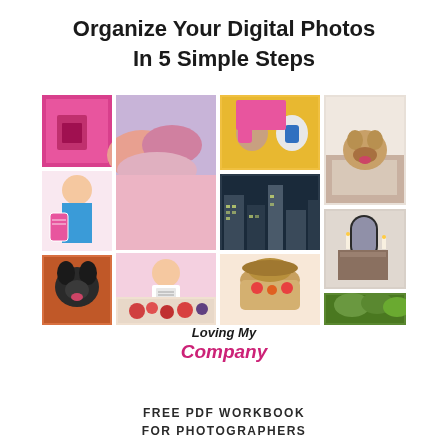Organize Your Digital Photos In 5 Simple Steps
[Figure (photo): Collage of multiple lifestyle photographs arranged in a mosaic grid, including images of: pink clothing/person, sky with clouds, dogs in pink outfits, dog on bed, flowers, smiling woman with colorful book, city buildings, dog on bed looking up, bedroom interior, polka dot fabric/sunglasses, French bulldog puppy, woman in white t-shirt and jeans, food/ingredients, basket with straw hat, green plants, radish/cucumber slices]
Loving My Company
FREE PDF WORKBOOK FOR PHOTOGRAPHERS